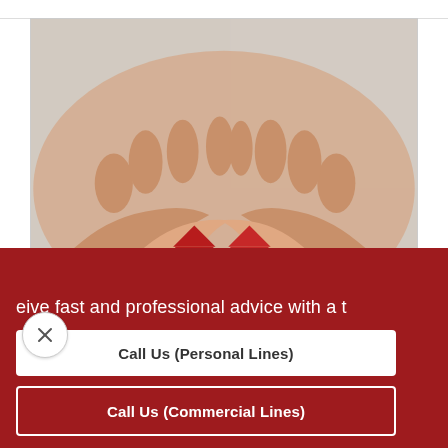[Figure (photo): Two pairs of hands cupped together holding red puzzle pieces shaped like a house, photographed from above on a white textured fabric background.]
eive fast and professional advice with a t
Call Us (Personal Lines)
Call Us (Commercial Lines)